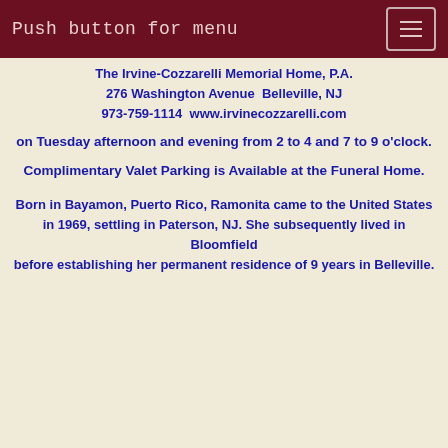Push button for menu
The Irvine-Cozzarelli Memorial Home, P.A.
276 Washington Avenue  Belleville, NJ
973-759-1114  www.irvinecozzarelli.com
on Tuesday afternoon and evening from 2 to 4 and 7 to 9 o'clock.
Complimentary Valet Parking is Available at the Funeral Home.
Born in Bayamon, Puerto Rico, Ramonita came to the United States in 1969, settling in Paterson, NJ. She subsequently lived in Bloomfield before establishing her permanent residence of 9 years in Belleville.